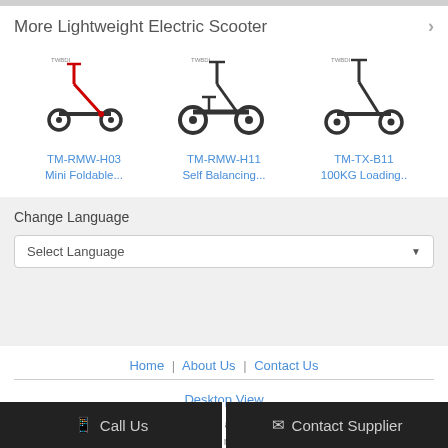More Lightweight Electric Scooter
[Figure (illustration): TM-RMW-H03 electric scooter product image - red and black foldable scooter]
TM-RMW-H03
Mini Foldable...
[Figure (illustration): TM-RMW-H11 electric scooter product image - black self balancing scooter]
TM-RMW-H11
Self Balancing...
[Figure (illustration): TM-TX-B11 electric scooter product image - black scooter]
TM-TX-B11
100KG Loading..
Change Language
Select Language
Home | About Us | Contact Us
Desktop View
Copyright © 2019 - 2022 rechargeable-electricscooter.com. All rights reserved.
Call Us
Contact Supplier